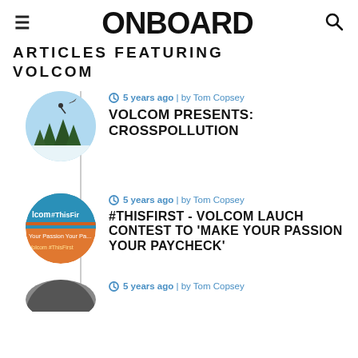ONBOARD
ARTICLES FEATURING VOLCOM
5 years ago | by Tom Copsey — VOLCOM PRESENTS: CROSSPOLLUTION
5 years ago | by Tom Copsey — #THISFIRST - VOLCOM LAUCH CONTEST TO 'MAKE YOUR PASSION YOUR PAYCHECK'